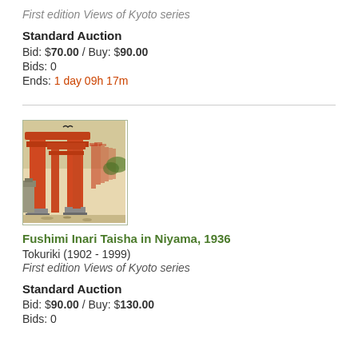First edition Views of Kyoto series
Standard Auction
Bid: $70.00 / Buy: $90.00
Bids: 0
Ends: 1 day 09h 17m
[Figure (photo): Japanese woodblock print showing Fushimi Inari Taisha torii gates in red/orange with stone lanterns and foliage]
Fushimi Inari Taisha in Niyama, 1936
Tokuriki (1902 - 1999)
First edition Views of Kyoto series
Standard Auction
Bid: $90.00 / Buy: $130.00
Bids: 0